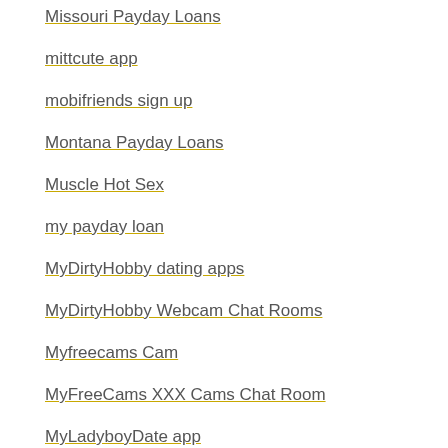Missouri Payday Loans
mittcute app
mobifriends sign up
Montana Payday Loans
Muscle Hot Sex
my payday loan
MyDirtyHobby dating apps
MyDirtyHobby Webcam Chat Rooms
Myfreecams Cam
MyFreeCams XXX Cams Chat Room
MyLadyboyDate app
mylol dating
mylol org how to message someone on